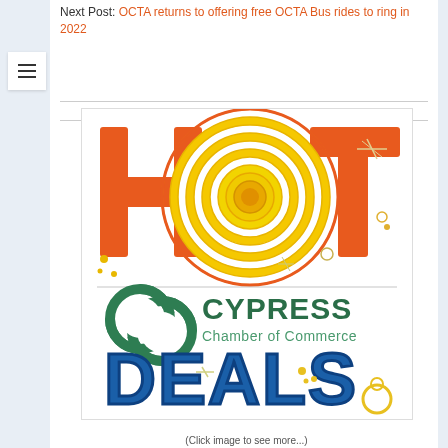Next Post: OCTA returns to offering free OCTA Bus rides to ring in 2022
[Figure (logo): HOT Deals logo featuring the Cypress Chamber of Commerce. 'HOT' in large orange block letters with the 'O' replaced by a colorful concentric circle sun graphic in orange and yellow. Below is the Cypress Chamber of Commerce green interlocking chain link logo with 'CYPRESS Chamber of Commerce' text in green. Below that 'DEALS' in large bold blue 3D letters with decorative sparkle and circle elements in yellow/gold.]
(Click image to see more...)